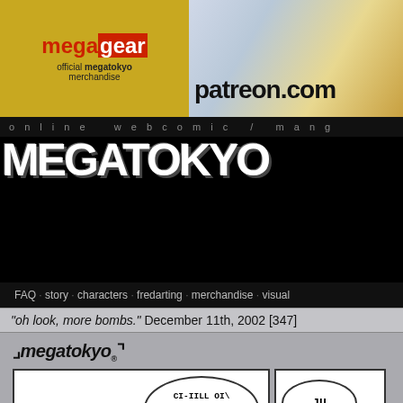[Figure (logo): MegaGear official megatokyo merchandise logo on yellow background]
[Figure (illustration): Patreon.com banner with anime-style characters]
online webcomic / manga
MEGATOKYO
FAQ · story · characters · fredarting · merchandise · visual
"oh look, more bombs." December 11th, 2002 [347]
[Figure (illustration): Megatokyo webcomic page header logo with comic panels showing character with speech bubble reading CI-IILL OI\ D4 MI55L3 BI_I7Z, DI_ID3. and another panel with JU]
megatokyo